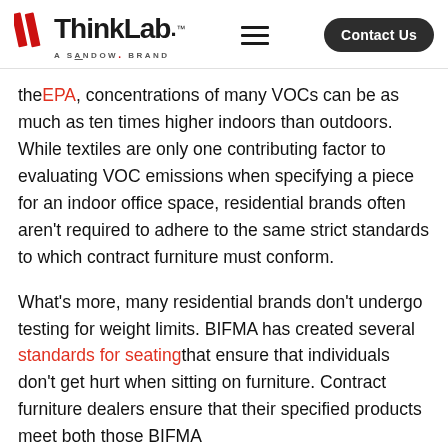ThinkLab — A SANDOW Brand | Contact Us
the EPA, concentrations of many VOCs can be as much as ten times higher indoors than outdoors. While textiles are only one contributing factor to evaluating VOC emissions when specifying a piece for an indoor office space, residential brands often aren't required to adhere to the same strict standards to which contract furniture must conform.
What's more, many residential brands don't undergo testing for weight limits. BIFMA has created several standards for seating that ensure that individuals don't get hurt when sitting on furniture. Contract furniture dealers ensure that their specified products meet both those BIFMA